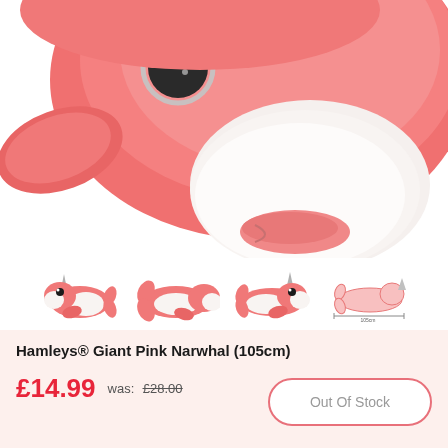[Figure (photo): Close-up photo of a pink/coral plush narwhal stuffed animal with white muzzle and black eye, cropped showing head and front portion against white background]
[Figure (photo): Thumbnail strip showing four views of the Hamleys Giant Pink Narwhal plush toy: front view, back view, side view, and size reference diagram with measurements]
Hamleys® Giant Pink Narwhal (105cm)
£14.99  was: £28.00
Out Of Stock